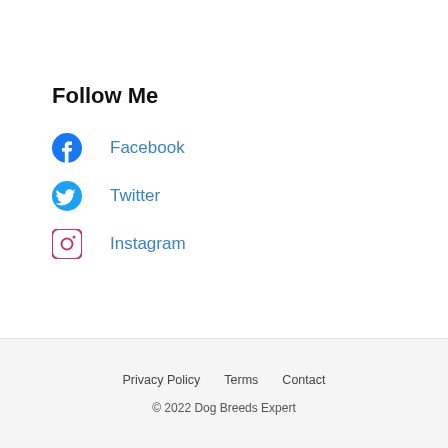Follow Me
Facebook
Twitter
Instagram
Privacy Policy   Terms   Contact
© 2022 Dog Breeds Expert